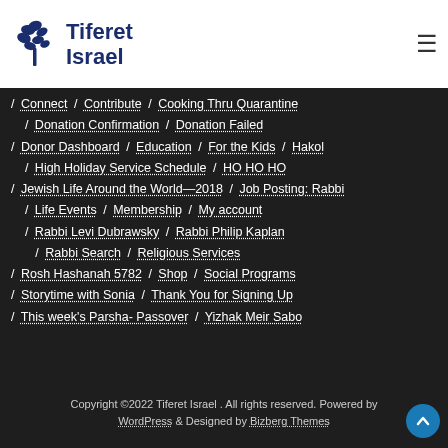[Figure (logo): Tiferet Israel logo with tree/leaf icon and text]
/ Connect / Contribute / Cooking Thru Quarantine
/ Donation Confirmation / Donation Failed
/ Donor Dashboard / Education / For the Kids / Hakol
/ High Holiday Service Schedule / HO HO HO
/ Jewish Life Around the World—2018 / Job Posting: Rabbi
/ Life Events / Membership / My account
/ Rabbi Levi Dubrawsky / Rabbi Philip Kaplan
/ Rabbi Search / Religious Services
/ Rosh Hashanah 5782 / Shop / Social Programs
/ Storytime with Sonia / Thank You for Signing Up
/ This week's Parsha- Passover / Yizhak Meir Sabo
Copyright ©2022 Tiferet Israel . All rights reserved. Powered by WordPress & Designed by Bizberg Themes